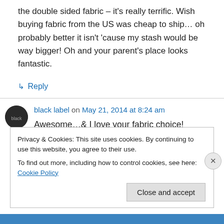the double sided fabric – it's really terrific. Wish buying fabric from the US was cheap to ship… oh probably better it isn't 'cause my stash would be way bigger! Oh and your parent's place looks fantastic.
↳ Reply
black label on May 21, 2014 at 8:24 am
Awesome…& I love your fabric choice!
Privacy & Cookies: This site uses cookies. By continuing to use this website, you agree to their use.
To find out more, including how to control cookies, see here: Cookie Policy